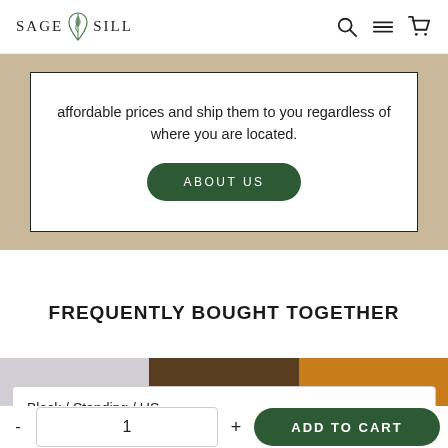SAGE SILL — navigation with search, menu, and cart icons
affordable prices and ship them to you regardless of where you are located.
ABOUT US
FREQUENTLY BOUGHT TOGETHER
Black / Standing / US
1
ADD TO CART